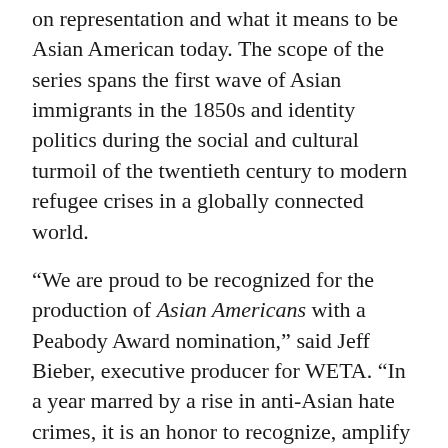on representation and what it means to be Asian American today. The scope of the series spans the first wave of Asian immigrants in the 1850s and identity politics during the social and cultural turmoil of the twentieth century to modern refugee crises in a globally connected world.
“We are proud to be recognized for the production of Asian Americans with a Peabody Award nomination,” said Jeff Bieber, executive producer for WETA. “In a year marred by a rise in anti-Asian hate crimes, it is an honor to recognize, amplify and encourage a positive message of equality and demonstrate support for the Asian American and Pacific Islander communities. Our goal is to continue to provide our audience with programs that